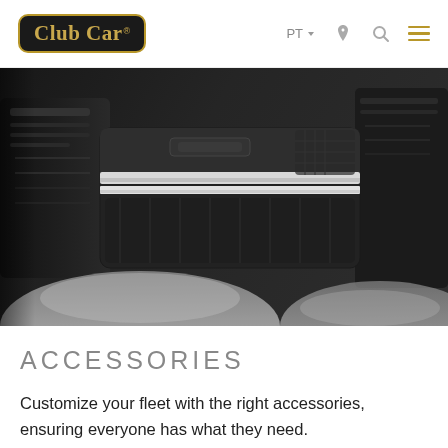Club Car | PT | [location icon] [search icon] [menu icon]
[Figure (photo): Close-up photo of a black golf cart accessory storage box/cooler with white trim edges, sitting in the golf cart, with black bags visible in the background and a metallic cart body in the foreground.]
ACCESSORIES
Customize your fleet with the right accessories, ensuring everyone has what they need.